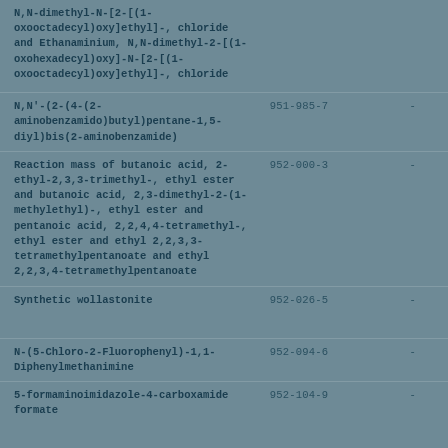| Substance name | EC number |  |
| --- | --- | --- |
| N,N-dimethyl-N-[2-[(1-oxooctadecyl)oxy]ethyl]-, chloride and Ethanaminium, N,N-dimethyl-2-[(1-oxohexadecyl)oxy]-N-[2-[(1-oxooctadecyl)oxy]ethyl]-, chloride |  |  |
| N,N'-(2-(4-(2-aminobenzamido)butyl)pentane-1,5-diyl)bis(2-aminobenzamide) | 951-985-7 | - |
| Reaction mass of butanoic acid, 2-ethyl-2,3,3-trimethyl-, ethyl ester and butanoic acid, 2,3-dimethyl-2-(1-methylethyl)-, ethyl ester and pentanoic acid, 2,2,4,4-tetramethyl-, ethyl ester and ethyl 2,2,3,3-tetramethylpentanoate and ethyl 2,2,3,4-tetramethylpentanoate | 952-000-3 | - |
| Synthetic wollastonite | 952-026-5 | - |
| N-(5-Chloro-2-Fluorophenyl)-1,1-Diphenylmethanimine | 952-094-6 | - |
| 5-formaminoimidazole-4-carboxamide formate | 952-104-9 | - |